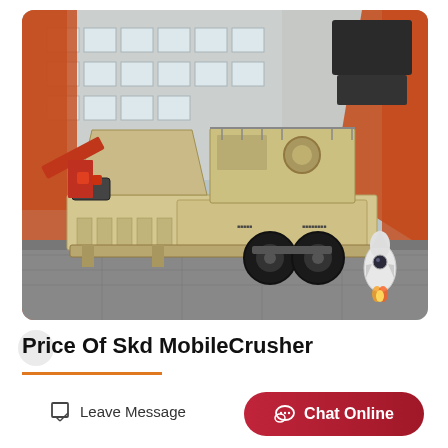[Figure (photo): A large mobile crusher machine (beige/tan colored) on a wheeled chassis, photographed outdoors at an industrial site with a gray building in the background and orange crane structures on the sides. The machine has various processing components including hoppers and conveyor systems.]
Price Of Skd MobileCrusher
Leave Message
Chat Online